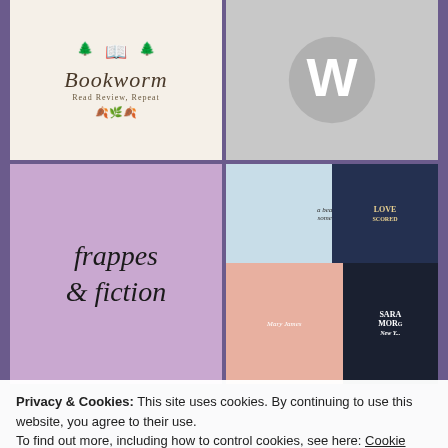[Figure (logo): Bookworm blog logo with pine trees and open book, text: Read Review, Repeat]
[Figure (logo): WordPress logo - white W on grey circle background]
[Figure (logo): Frappes & Fiction blog logo on purple/mauve background]
[Figure (photo): Collage of book covers including Love Scored and Sara Morgan titles]
Privacy & Cookies: This site uses cookies. By continuing to use this website, you agree to their use.
To find out more, including how to control cookies, see here: Cookie Policy
Close and accept